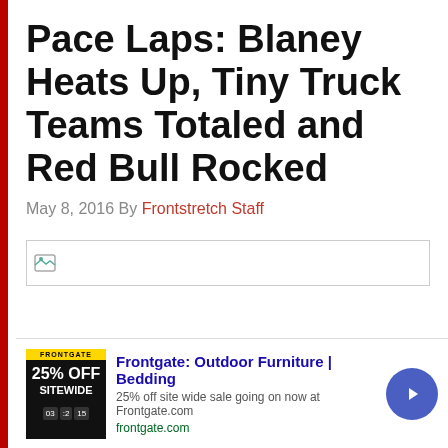Pace Laps: Blaney Heats Up, Tiny Truck Teams Totaled and Red Bull Rocked
May 8, 2016 By Frontstretch Staff
[Figure (other): Broken/loading image placeholder — a small image icon inside a bordered rectangle]
Frontgate: Outdoor Furniture | Bedding
25% off site wide sale going on now at Frontgate.com
frontgate.com